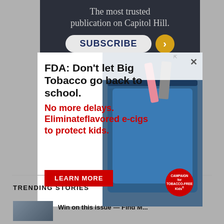[Figure (screenshot): Top dark banner advertisement for a publication with text 'The most trusted publication on Capitol Hill.' and a SUBSCRIBE button with arrow]
[Figure (screenshot): Popup advertisement from Campaign for Tobacco-Free Kids: 'FDA: Don't let Big Tobacco go back to school. No more delays. Eliminate flavored e-cigs to protect kids.' with a LEARN MORE button and photo of a backpack with e-cigarettes. Red Campaign for Tobacco-Free Kids badge visible. X close button.]
TRENDING STORIES
Win on this issue — Find M...